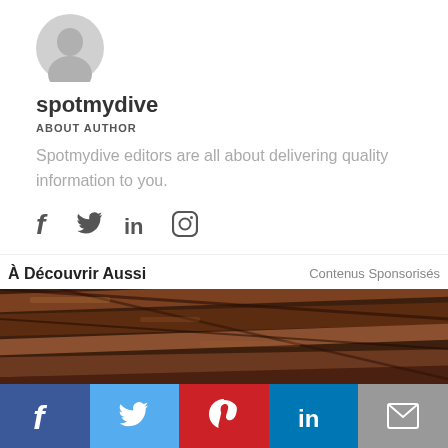[Figure (illustration): Grey silhouette avatar/profile icon]
spotmydive
ABOUT AUTHOR
Spotmydive editors are all about delivering quality information to you.
[Figure (illustration): Social media icons: Facebook, Twitter, LinkedIn, Instagram]
À Découvrir Aussi
Contenus Sponsorisés
[Figure (photo): Photo of wooden ceiling beams/joists, dark brown wood]
Social share bar with Facebook, Twitter, Pinterest, LinkedIn, Email buttons